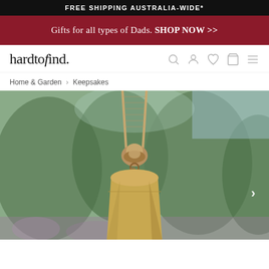FREE SHIPPING AUSTRALIA-WIDE*
Gifts for all types of Dads. SHOP NOW >>
[Figure (logo): hardtofind. logo with italic f]
Home & Garden > Keepsakes
[Figure (photo): Close-up photo of a rustic golden/brass bell hanging from a knotted rope/twine, with a blurred green garden background]